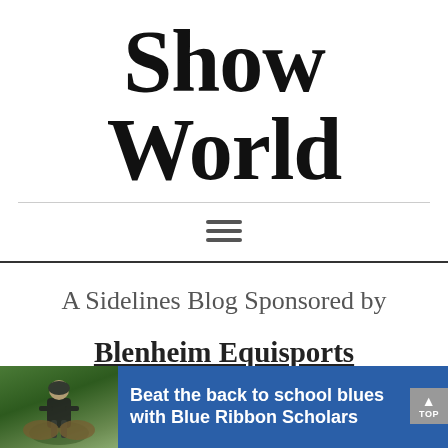Show World
A Sidelines Blog Sponsored by Blenheim Equisports
[Figure (photo): Advertisement banner showing a horse rider in green foliage on the left, with blue background on the right reading 'Beat the back to school blues with Blue Ribbon Scholars']